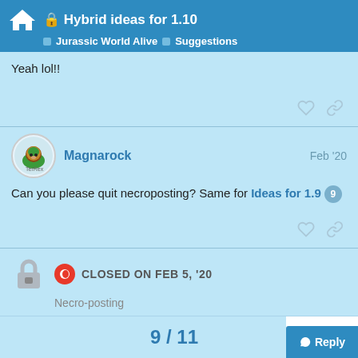🔒 Hybrid ideas for 1.10 | Jurassic World Alive | Suggestions
Yeah lol!!
Magnarock  Feb '20
Can you please quit necroposting? Same for Ideas for 1.9 9
CLOSED ON FEB 5, '20
Necro-posting
9 / 11